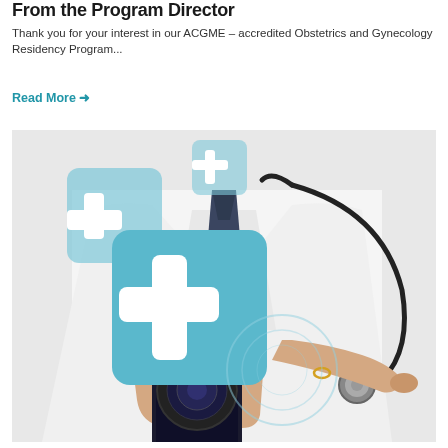From the Program Director
Thank you for your interest in our ACGME – accredited Obstetrics and Gynecology Residency Program...
Read More →
[Figure (photo): Doctor in white coat wearing stethoscope, holding a smartphone and touching a digital medical cross/plus icon interface floating above the phone screen.]